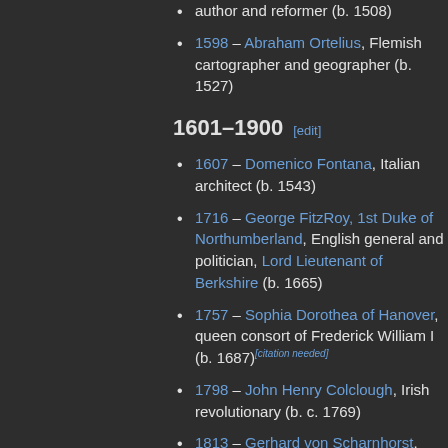author and reformer (b. 1508)
1598 – Abraham Ortelius, Flemish cartographer and geographer (b. 1527)
1601–1900 [edit]
1607 – Domenico Fontana, Italian architect (b. 1543)
1716 – George FitzRoy, 1st Duke of Northumberland, English general and politician, Lord Lieutenant of Berkshire (b. 1665)
1757 – Sophia Dorothea of Hanover, queen consort of Frederick William I (b. 1687)[citation needed]
1798 – John Henry Colclough, Irish revolutionary (b. c. 1769)
1813 – Gerhard von Scharnhorst, Prussian general and politician, Prussian Minister of War (b. 1755)